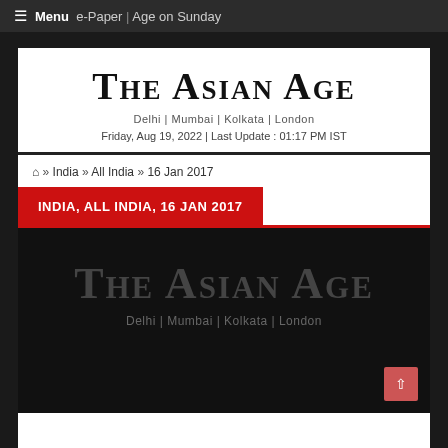≡ Menu  e-Paper | Age on Sunday
The Asian Age
Delhi | Mumbai | Kolkata | London
Friday, Aug 19, 2022 | Last Update : 01:17 PM IST
🏠 » India » All India » 16 Jan 2017
INDIA, ALL INDIA, 16 JAN 2017
[Figure (logo): The Asian Age watermark logo with text 'Delhi | Mumbai | Kolkata | London' on dark background]